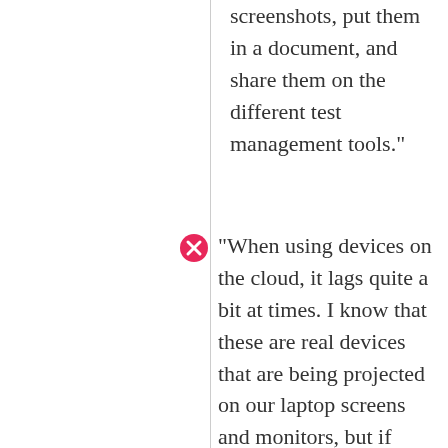screenshots, put them in a document, and share them on the different test management tools."
"When using devices on the cloud, it lags quite a bit at times. I know that these are real devices that are being projected on our laptop screens and monitors, but if